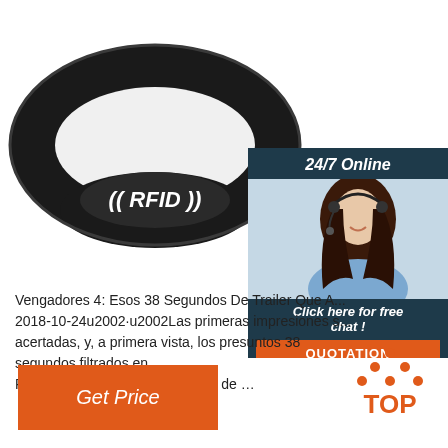[Figure (photo): Black RFID silicone wristband with white RFID logo text, oval shaped]
[Figure (infographic): 24/7 Online support ad with woman wearing headset, blue/dark background, 'Click here for free chat!' text and orange QUOTATION button]
Vengadores 4: Esos 38 Segundos De Trailer Que A... 2018-10-24u2002·u2002Las primeras impresiones s... acertadas, y, a primera vista, los presuntos 38 segundos filtrados en Reddit del presunto nuevo trailer de …
[Figure (logo): Orange TOP logo with dots arranged in triangle above the text TOP]
[Figure (other): Orange 'Get Price' button]